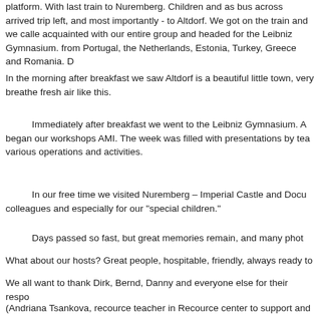platform. With last train to Nuremberg. Children and as bus across arrived trip left, and most importantly - to Altdorf. We got on the train and we called acquainted with our entire group and headed for the Leibniz Gymnasium. from Portugal, the Netherlands, Estonia, Turkey, Greece and Romania. D
In the morning after breakfast we saw Altdorf is a beautiful little town, very breathe fresh air like this.
Immediately after breakfast we went to the Leibniz Gymnasium. A began our workshops AMI. The week was filled with presentations by teachers various operations and activities.
In our free time we visited Nuremberg – Imperial Castle and Docu colleagues and especially for our "special children."
Days passed so fast, but great memories remain, and many phot
What about our hosts? Great people, hospitable, friendly, always ready to
We all want to thank Dirk, Bernd, Danny and everyone else for their respo
(Andriana Tsankova, recource teacher in Recource center to support and